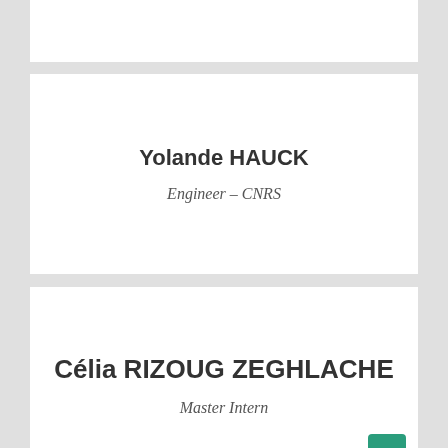Yolande HAUCK
Engineer – CNRS
Célia RIZOUG ZEGHLACHE
Master Intern